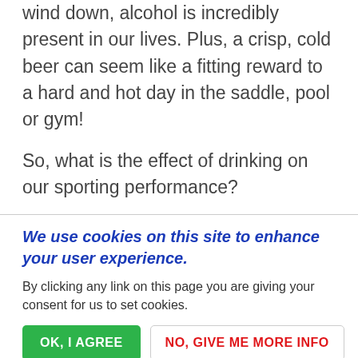wind down, alcohol is incredibly present in our lives. Plus, a crisp, cold beer can seem like a fitting reward to a hard and hot day in the saddle, pool or gym!
So, what is the effect of drinking on our sporting performance?
General Health
We use cookies on this site to enhance your user experience.
By clicking any link on this page you are giving your consent for us to set cookies.